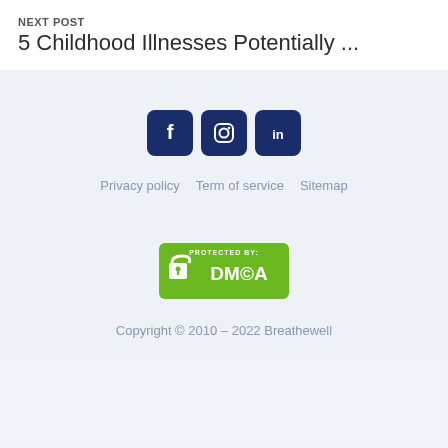NEXT POST
5 Childhood Illnesses Potentially ...
[Figure (illustration): Social media icons: Facebook, Instagram, LinkedIn — dark navy rounded square icons]
Privacy policy   Term of service   Sitemap
[Figure (logo): DMCA Protected badge — green rounded rectangle with lock icon and text PROTECTED BY: DMCA]
Copyright © 2010 – 2022 Breathewell